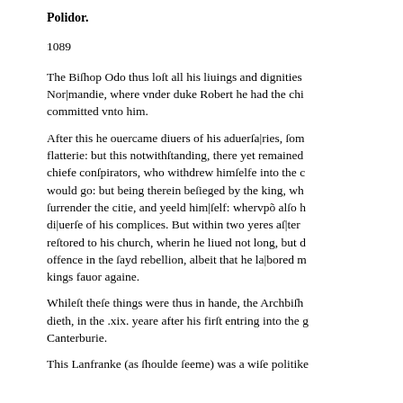Polidor.
1089
The Biſhop Odo thus loſt all his liuings and dignities Nor|mandie, where vnder duke Robert he had the chi committed vnto him.
After this he ouercame diuers of his aduerſa|ries, ſom flatterie: but this notwithſtanding, there yet remained chiefe conſpirators, who withdrew himſelfe into the c would go: but being therein beſieged by the king, wh ſurrender the citie, and yeeld him|ſelf: whervpõ alſo h di|uerſe of his complices. But within two yeres aſ|ter reſtored to his church, wherin he liued not long, but d offence in the ſayd rebellion, albeit that he la|bored m kings fauor againe.
Whileſt theſe things were thus in hande, the Archbiſh dieth, in the .xix. yeare after his firſt entring into the g Canterburie.
This Lanfranke (as ſhoulde ſeeme) was a wiſe politike